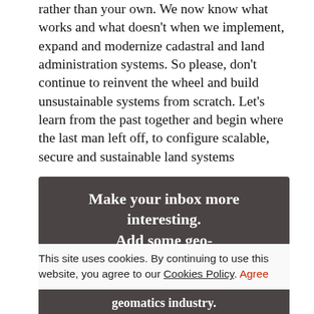rather than your own. We now know what works and what doesn't when we implement, expand and modernize cadastral and land administration systems. So please, don't continue to reinvent the wheel and build unsustainable systems from scratch. Let's learn from the past together and begin where the last man left off, to configure scalable, secure and sustainable land systems
Make your inbox more interesting. Add some geo-
This site uses cookies. By continuing to use this website, you agree to our Cookies Policy. Agree
technological advancement in the geomatics industry.